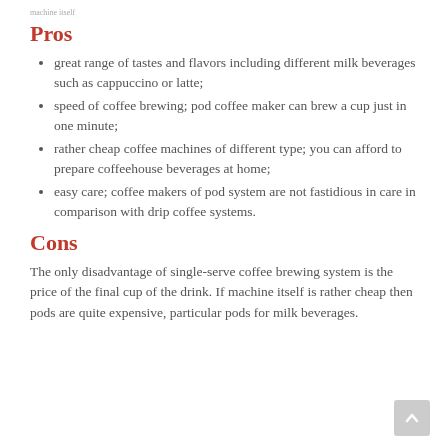machine itself
Pros
great range of tastes and flavors including different milk beverages such as cappuccino or latte;
speed of coffee brewing; pod coffee maker can brew a cup just in one minute;
rather cheap coffee machines of different type; you can afford to prepare coffeehouse beverages at home;
easy care; coffee makers of pod system are not fastidious in care in comparison with drip coffee systems.
Cons
The only disadvantage of single-serve coffee brewing system is the price of the final cup of the drink. If machine itself is rather cheap then pods are quite expensive, particular pods for milk beverages.